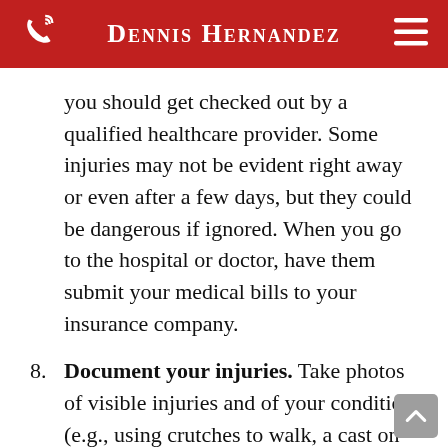Dennis Hernandez
you should get checked out by a qualified healthcare provider. Some injuries may not be evident right away or even after a few days, but they could be dangerous if ignored. When you go to the hospital or doctor, have them submit your medical bills to your insurance company.
8. Document your injuries. Take photos of visible injuries and of your condition (e.g., using crutches to walk, a cast on your leg). Keeping a journal about your physical and emotional condition – your pain, difficulties